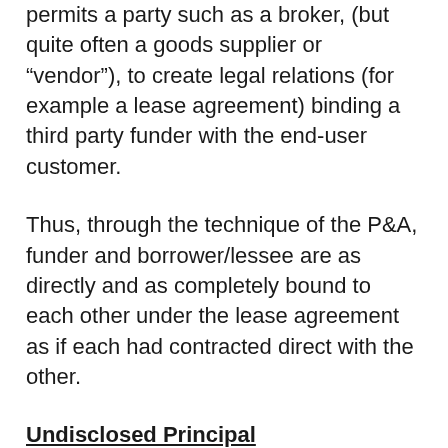permits a party such as a broker, (but quite often a goods supplier or “vendor”), to create legal relations (for example a lease agreement) binding a third party funder with the end-user customer.
Thus, through the technique of the P&A, funder and borrower/lessee are as directly and as completely bound to each other under the lease agreement as if each had contracted direct with the other.
Undisclosed Principal
The law also has a principle that has been...